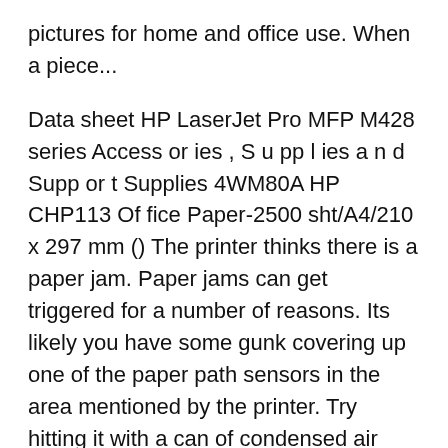pictures for home and office use. When a piece...
Data sheet HP LaserJet Pro MFP M428 series Access or ies , S u pp l ies a n d Supp or t Supplies 4WM80A HP CHP113 Of fice Paper-2500 sht/A4/210 x 297 mm () The printer thinks there is a paper jam. Paper jams can get triggered for a number of reasons. Its likely you have some gunk covering up one of the paper path sensors in the area mentioned by the printer. Try hitting it with a can of condensed air and see if you can clean up the sensor.
Learn how to clear a paper jam in the printer. IBM WebSphere Portal HP